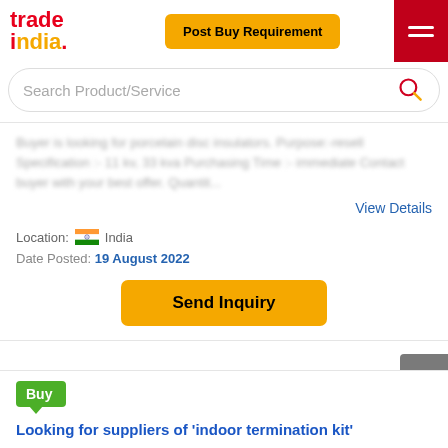[Figure (logo): TradeIndia logo with 'trade' in red and 'india.' in orange/red text]
Post Buy Requirement
[Figure (other): Hamburger menu icon on red background]
Search Product/Service
Buyer is looking for porcelain disc insulators. Purpose:-resell Specification :- 11 kv, 33 kva Purchasing Time :- immediate Contact buyer with your best offer. Quantit...
View Details
Location: India
Date Posted: 19 August 2022
Send Inquiry
RFQ
Buy
Looking for suppliers of 'indoor termination kit'